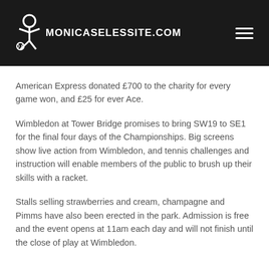MONICASELESSITE.COM
American Express donated £700 to the charity for every game won, and £25 for ever Ace.
Wimbledon at Tower Bridge promises to bring SW19 to SE1 for the final four days of the Championships. Big screens show live action from Wimbledon, and tennis challenges and instruction will enable members of the public to brush up their skills with a racket.
Stalls selling strawberries and cream, champagne and Pimms have also been erected in the park. Admission is free and the event opens at 11am each day and will not finish until the close of play at Wimbledon.